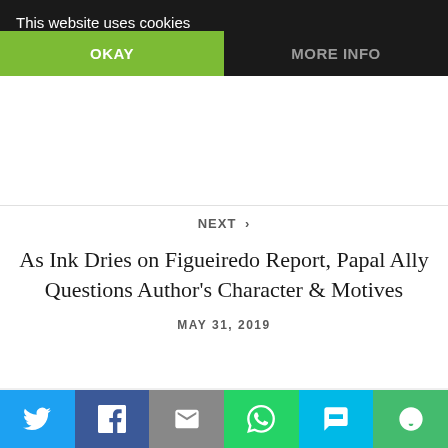Saturdays
MAY 31, 2019
This website uses cookies
OKAY
MORE INFO
NEXT >
As Ink Dries on Figueiredo Report, Papal Ally Questions Author's Character & Motives
MAY 31, 2019
96 Comments
[Figure (other): Social sharing bar with Twitter, Facebook, Email, WhatsApp, SMS, and More buttons]